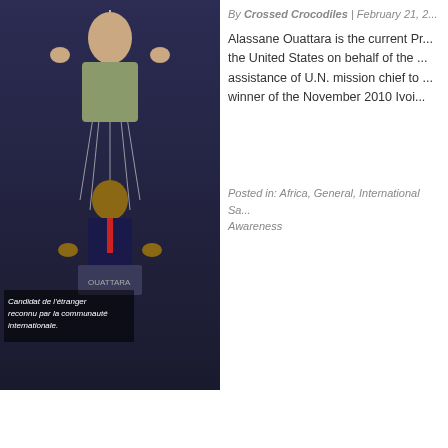[Figure (photo): A man in suit appears as a puppet with strings attached, with another man gesturing behind. Text overlay in French: 'Candidat de l’étranger reconnu par la communauté internationale.']
By Crossed Crocodiles | February 21, 2...
Alassane Ouattara is the current Pr... the United States on behalf of the ... assistance of U.N. mission chief to ... winner of the November 2010 Ivoi...
Posted in: Africa, General, International Sa... Awareness
History of Boko Haram b...
[Figure (photo): A scenic photo showing Zuma Rock (a large monolith) in the background with a colorful market scene with people and red umbrellas in the foreground.]
By Crossed Crocodiles | February 21, 2...
Chatham House hosted a discussio... Reforms. In it Garba Sani gave a bri... best I have seen. [caption id="attac... caption="View of Zuma rock from ...
Posted in: Africa, General, International Sa...